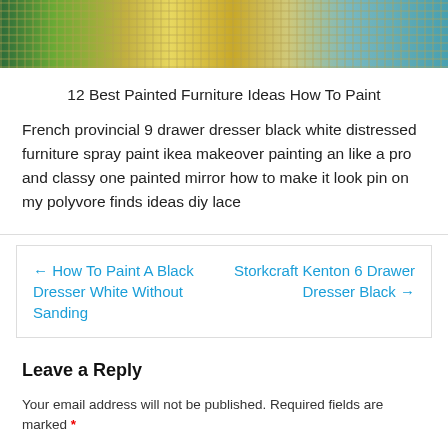[Figure (photo): Photograph of painted furniture items including chairs and shelving with yellow, green and teal tones on a rug background]
12 Best Painted Furniture Ideas How To Paint
French provincial 9 drawer dresser black white distressed furniture spray paint ikea makeover painting an like a pro and classy one painted mirror how to make it look pin on my polyvore finds ideas diy lace
← How To Paint A Black Dresser White Without Sanding    Storkcraft Kenton 6 Drawer Dresser Black →
Leave a Reply
Your email address will not be published. Required fields are marked *